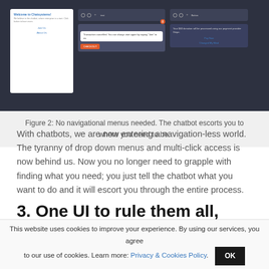[Figure (screenshot): Screenshot of a chatbot UI showing conversational interface with multiple panels including a welcome screen, chat messages, and payment flow. The interface demonstrates navigation-less chatbot experience.]
Figure 2: No navigational menus needed. The chatbot escorts you to where you need to be.
With chatbots, we are now entering a navigation-less world. The tyranny of drop down menus and multi-click access is now behind us. Now you no longer need to grapple with finding what you need; you just tell the chatbot what you want to do and it will escort you through the entire process.
3. One UI to rule them all, and in the chatbot bind them.
This website uses cookies to improve your experience. By using our services, you agree to our use of cookies. Learn more: Privacy & Cookies Policy.  OK